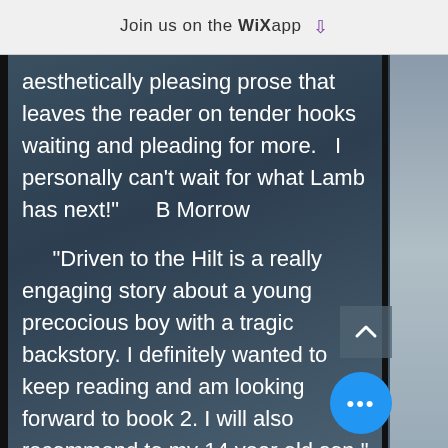Join us on the WiX app ⬇
aesthetically pleasing prose that leaves the reader on tender hooks waiting and pleading for more.   I personally can't wait for what Lamb has next!"      B Morrow
"Driven to the Hilt is a really engaging story about a young precocious boy with a tragic backstory. I definitely wanted to keep reading and am looking forward to book 2. I will also recommend to my 14 year old son."     Dr. Jeanette